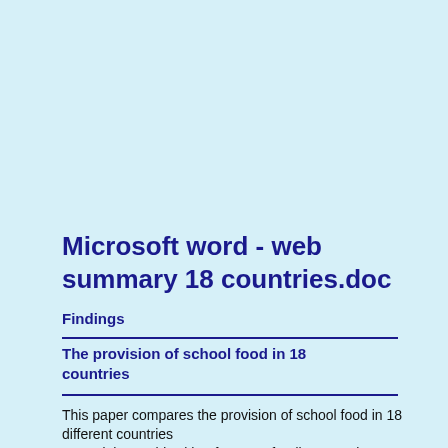Microsoft word - web summary 18 countries.doc
Findings
The provision of school food in 18 countries
This paper compares the provision of school food in 18 different countries around the world, with a focus on funding, catering